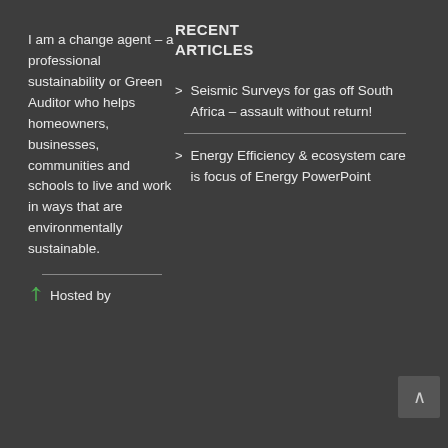I am a change agent – a professional sustainability or Green Auditor who helps homeowners, businesses, communities and schools to live and work in ways that are environmentally sustainable.
Hosted by
RECENT ARTICLES
> Seismic Surveys for gas off South Africa – assault without return!
> Energy Efficiency & ecosystem care is focus of Energy PowerPoint